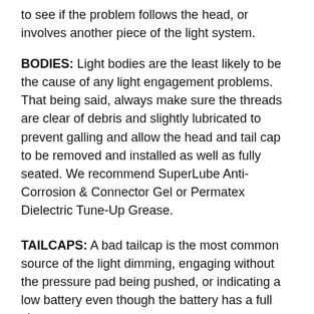to see if the problem follows the head, or involves another piece of the light system.
BODIES: Light bodies are the least likely to be the cause of any light engagement problems. That being said, always make sure the threads are clear of debris and slightly lubricated to prevent galling and allow the head and tail cap to be removed and installed as well as fully seated. We recommend SuperLube Anti-Corrosion & Connector Gel or Permatex Dielectric Tune-Up Grease.
TAILCAPS: A bad tailcap is the most common source of the light dimming, engaging without the pressure pad being pushed, or indicating a low battery even though the battery has a full charge.
Clicky Tailcaps:
Make sure the tailcap is fully seated and not loose...